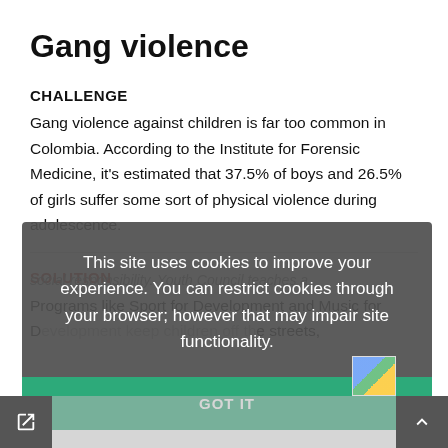Gang violence
CHALLENGE
Gang violence against children is far too common in Colombia. According to the Institute for Forensic Medicine, it's estimated that 37.5% of boys and 26.5% of girls suffer some sort of physical violence during adolescence.
SOLUTION
Programs like Sport for Development and Music for D... e streets,
This site uses cookies to improve your experience. You can restrict cookies through your browser; however that may impair site functionality.
GOT IT
social responsibility. Youth Council teaches a...